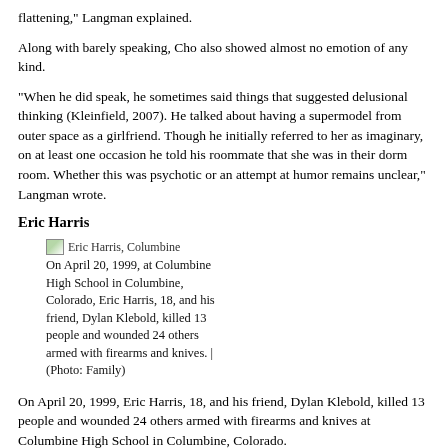flattening," Langman explained.
Along with barely speaking, Cho also showed almost no emotion of any kind.
"When he did speak, he sometimes said things that suggested delusional thinking (Kleinfield, 2007). He talked about having a supermodel from outer space as a girlfriend. Though he initially referred to her as imaginary, on at least one occasion he told his roommate that she was in their dorm room. Whether this was psychotic or an attempt at humor remains unclear," Langman wrote.
Eric Harris
[Figure (photo): Eric Harris, Columbine — placeholder image icon with caption about Eric Harris and Dylan Klebold at Columbine High School on April 20, 1999.]
Eric Harris, Columbine
On April 20, 1999, at Columbine High School in Columbine, Colorado, Eric Harris, 18, and his friend, Dylan Klebold, killed 13 people and wounded 24 others armed with firearms and knives. | (Photo: Family)
On April 20, 1999, Eric Harris, 18, and his friend, Dylan Klebold, killed 13 people and wounded 24 others armed with firearms and knives at Columbine High School in Columbine, Colorado.